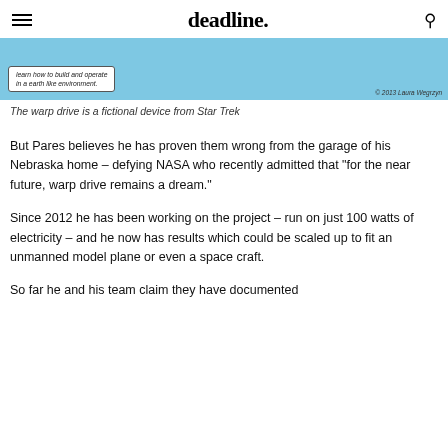deadline.
[Figure (illustration): Top portion of an illustration showing a blue background with a white callout box containing italic text about living in an earth-like environment. Copyright '© 2013 Laura Wegrzyn' visible at bottom right.]
The warp drive is a fictional device from Star Trek
But Pares believes he has proven them wrong from the garage of his Nebraska home – defying NASA who recently admitted that “for the near future, warp drive remains a dream.”
Since 2012 he has been working on the project – run on just 100 watts of electricity – and he now has results which could be scaled up to fit an unmanned model plane or even a space craft.
So far he and his team claim they have documented